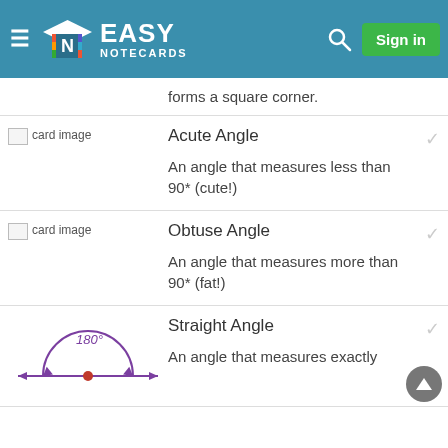EASY NOTECARDS
forms a square corner.
Acute Angle

An angle that measures less than 90* (cute!)
Obtuse Angle

An angle that measures more than 90* (fat!)
[Figure (illustration): Semicircle diagram showing a straight angle of 180 degrees, with a purple arc and arrows, a red dot at center, on a horizontal line]
Straight Angle

An angle that measures exactly